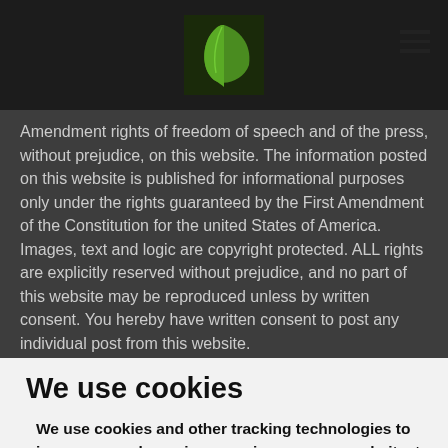[logo: green leaf image] [hamburger menu icon]
Amendment rights of freedom of speech and of the press, without prejudice, on this website. The information posted on this website is published for informational purposes only under the rights guaranteed by the First Amendment of the Constitution for the united States of America. Images, text and logic are copyright protected. ALL rights are explicitly reserved without prejudice, and no part of this website may be reproduced unless by written consent. You hereby have written consent to post any individual post from this website.
We use cookies
We use cookies and other tracking technologies to improve your browsing experience on our website, to show you personalized content and targeted ads, to analyze our website traffic, and to